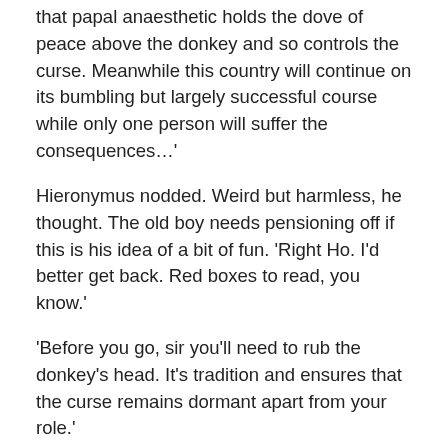that papal anaesthetic holds the dove of peace above the donkey and so controls the curse. Meanwhile this country will continue on its bumbling but largely successful course while only one person will suffer the consequences…'
Hieronymus nodded. Weird but harmless, he thought. The old boy needs pensioning off if this is his idea of a bit of fun. 'Right Ho. I'd better get back. Red boxes to read, you know.'
'Before you go, sir you'll need to rub the donkey's head. It's tradition and ensures that the curse remains dormant apart from your role.'
'Seriously?'
But Raddle had already used the key to open a small panel next to the donkey that allowed a hand to be